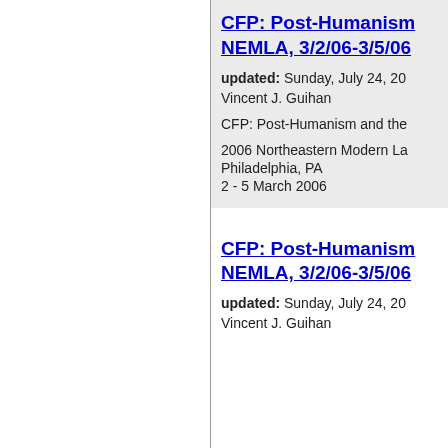CFP: Post-Humanism and the... NEMLA, 3/2/06-3/5/06
updated: Sunday, July 24, 20...
Vincent J. Guihan
CFP: Post-Humanism and the...
2006 Northeastern Modern La...
Philadelphia, PA
2 - 5 March 2006
CFP: Post-Humanism and the... NEMLA, 3/2/06-3/5/06
updated: Sunday, July 24, 20...
Vincent J. Guihan